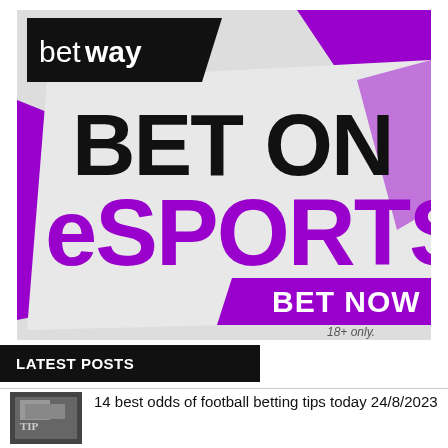[Figure (advertisement): Betway eSports betting advertisement banner. Black Betway logo top left, large text 'BET ON eSPORTS' in black and purple, purple diagonal background elements, purple 'BET NOW' call-to-action button, '18+ only' disclaimer bottom right.]
LATEST POSTS
14 best odds of football betting tips today 24/8/2022